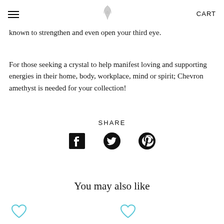≡  [logo]  CART
known to strengthen and even open your third eye.
For those seeking a crystal to help manifest loving and supporting energies in their home, body, workplace, mind or spirit; Chevron amethyst is needed for your collection!
SHARE
[Figure (infographic): Social sharing icons: Facebook, Twitter, Pinterest]
You may also like
[Figure (infographic): Two heart/wishlist icons in cyan/teal color at bottom of page]